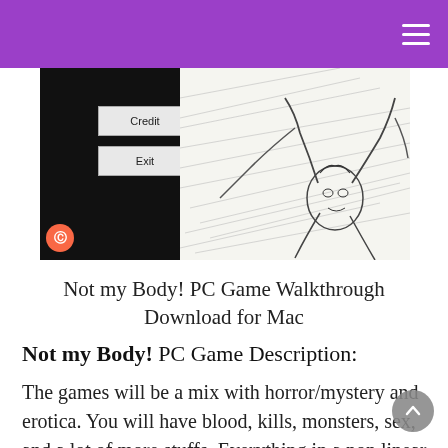[Figure (screenshot): Screenshot of 'Not my Body!' PC game title screen showing Credit and Exit buttons on a black background with pencil-sketch style character art on the right side. Patreon logo in bottom-left corner.]
Not my Body! PC Game Walkthrough Download for Mac
Not my Body! PC Game Description:
The games will be a mix with horror/mystery and erotica. You will have blood, kills, monsters, sex, and a lot of more stuffs. Everything in a non linear way and with a lot of options ahead. The style is black and white to help reach two objectives, one, give a